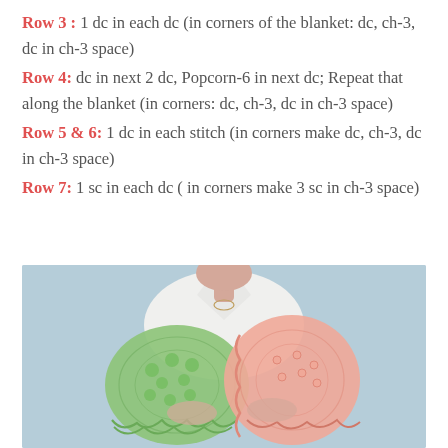Row 3 : 1 dc in each dc (in corners of the blanket: dc, ch-3, dc in ch-3 space)
Row 4: dc in next 2 dc, Popcorn-6 in next dc; Repeat that along the blanket (in corners: dc, ch-3, dc in ch-3 space)
Row 5 & 6: 1 dc in each stitch (in corners make dc, ch-3, dc in ch-3 space)
Row 7: 1 sc in each dc ( in corners make 3 sc in ch-3 space)
[Figure (photo): Person holding two crocheted blankets — one green and one pink/peach — against a light blue-gray background]